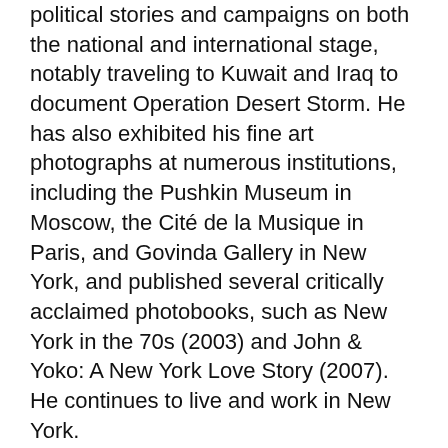political stories and campaigns on both the national and international stage, notably traveling to Kuwait and Iraq to document Operation Desert Storm. He has also exhibited his fine art photographs at numerous institutions, including the Pushkin Museum in Moscow, the Cité de la Musique in Paris, and Govinda Gallery in New York, and published several critically acclaimed photobooks, such as New York in the 70s (2003) and John & Yoko: A New York Love Story (2007). He continues to live and work in New York.
SKU: N/A   CATEGORIES: Art, Black And White, Contemporary, Icons, Muhammad Ali, Photography, Sports   TAGS: 1977, Allan Tannenbaum, Black And White Photography, Boxing, Celebrity, Contemporary, Deer Lake, Iconic, Muhammad Ali, PA, Smile, Sports